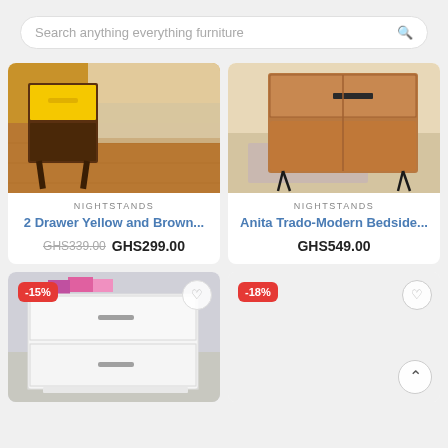[Figure (screenshot): Search bar with placeholder text 'Search anything everything furniture' and a search icon on the right]
[Figure (photo): Nightstand with yellow drawer and brown wooden legs on a herringbone wood floor]
NIGHTSTANDS
2 Drawer Yellow and Brown...
GHS339.00  GHS299.00
[Figure (photo): Anita Trado-Modern bedside table in walnut finish with black hairpin legs]
NIGHTSTANDS
Anita Trado-Modern Bedside...
GHS549.00
[Figure (photo): White two-drawer nightstand with silver handles, -15% discount badge]
[Figure (photo): Partially visible product with -18% discount badge, heart wishlist icon, and scroll-to-top button]